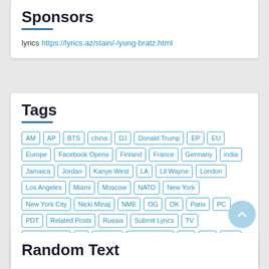Sponsors
lyrics https://lyrics.az/stain/-/yung-bratz.html
Tags
AM AP BTS china DJ Donald Trump EP EU Europe Facebook Opens Finland France Germany india Jamaica Jordan Kanye West LA Lil Wayne London Los Angeles Miami Moscow NATO New York New York City Nicki Minaj NME OG OK Paris PC PDT Related Posts Russia Submit Lyrics TV Twitter Opens uk Ukraine United States US VIP VVS Vybz Kartel
Random Text